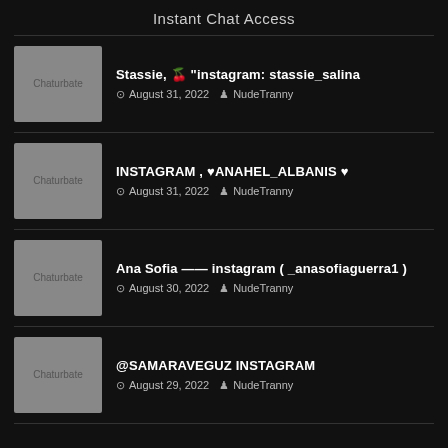Instant Chat Access
Stassie, 🍒 "instagram: stassie_salina | August 31, 2022 | NudeTranny
INSTAGRAM , ♥ANAHEL_ALBANIS ♥ | August 31, 2022 | NudeTranny
Ana Sofia — instagram ( _anasofiaguerra1 ) | August 30, 2022 | NudeTranny
@SAMARAVEGUZ INSTAGRAM | August 29, 2022 | NudeTranny